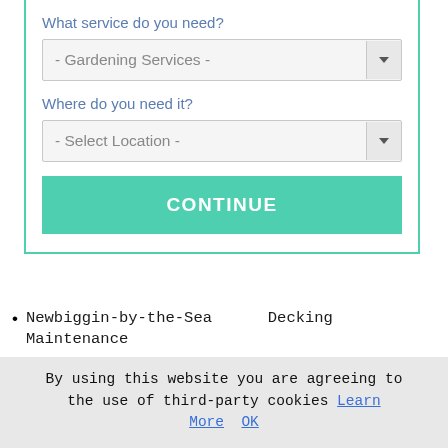What service do you need?
- Gardening Services -
Where do you need it?
- Select Location -
CONTINUE
Newbiggin-by-the-Sea     Decking Maintenance
Newbiggin-by-the-Sea     Driveway Cleaning
Newbiggin-by-the-Sea  Tree Pruning
By using this website you are agreeing to the use of third-party cookies Learn More  OK